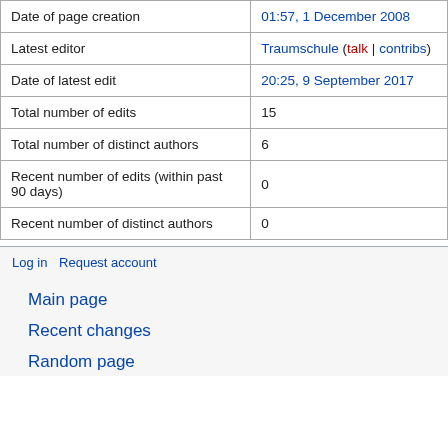| Date of page creation | 01:57, 1 December 2008 |
| Latest editor | Traumschule (talk | contribs) |
| Date of latest edit | 20:25, 9 September 2017 |
| Total number of edits | 15 |
| Total number of distinct authors | 6 |
| Recent number of edits (within past 90 days) | 0 |
| Recent number of distinct authors | 0 |
Log in  Request account
Main page
Recent changes
Random page